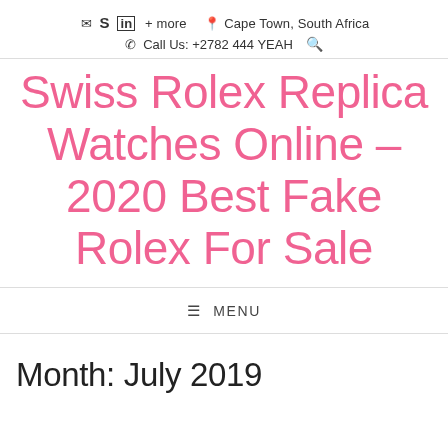✉ S in + more 📍 Cape Town, South Africa | ☎ Call Us: +2782 444 YEAH 🔍
Swiss Rolex Replica Watches Online – 2020 Best Fake Rolex For Sale
☰ MENU
Month: July 2019